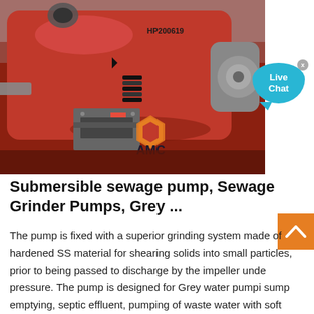[Figure (photo): Close-up photograph of a red industrial submersible sewage grinder pump with serial number HP200619 visible, showing a black coil spring, a metal bracket/plate assembly, and an AMC logo in the lower right area of the pump. The pump sits on a reddish-brown surface. A Live Chat speech bubble widget and a close (X) button appear in the upper-right area outside the photo.]
Submersible sewage pump, Sewage Grinder Pumps, Grey ...
The pump is fixed with a superior grinding system made of hardened SS material for shearing solids into small particles, prior to being passed to discharge by the impeller under pressure. The pump is designed for Grey water pumping, sump emptying, septic effluent, pumping of waste water with soft solid in suspension, industrial sewage...